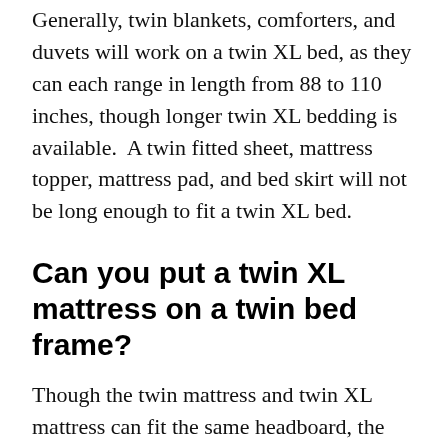Generally, twin blankets, comforters, and duvets will work on a twin XL bed, as they can each range in length from 88 to 110 inches, though longer twin XL bedding is available.  A twin fitted sheet, mattress topper, mattress pad, and bed skirt will not be long enough to fit a twin XL bed.
Can you put a twin XL mattress on a twin bed frame?
Though the twin mattress and twin XL mattress can fit the same headboard, the twin XL requires more length (5 inches) for the bed frame.
With advances in bed design, most mattresses can be